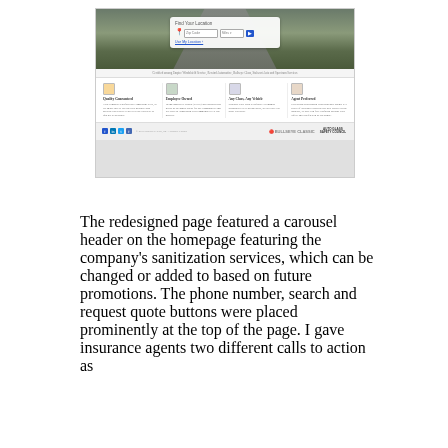[Figure (screenshot): Screenshot of a redesigned auto glass company homepage showing a hero image with a road/highway, a location search widget, feature icons (Quality Guaranteed, Employee Owned, Any Class Any Vehicle, Agent Preferred) with descriptions, and a footer with social media icons and partner logos.]
The redesigned page featured a carousel header on the homepage featuring the company’s sanitization services, which can be changed or added to based on future promotions. The phone number, search and request quote buttons were placed prominently at the top of the page. I gave insurance agents two different calls to action as